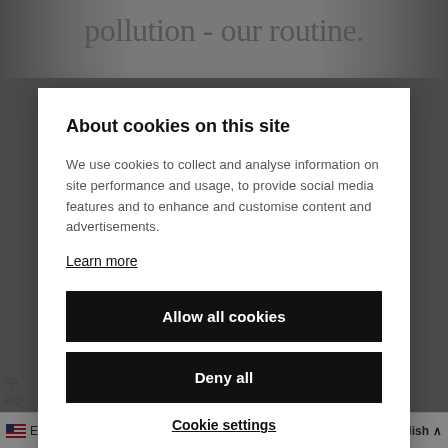[Figure (screenshot): Background webpage showing partial text 'pollution - our routine.' at top and partial article text below]
About cookies on this site
We use cookies to collect and analyse information on site performance and usage, to provide social media features and to enhance and customise content and advertisements.
Learn more
Allow all cookies
Deny all
Cookie settings